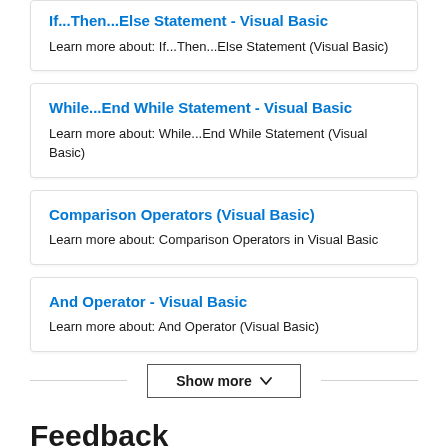If...Then...Else Statement - Visual Basic
Learn more about: If...Then...Else Statement (Visual Basic)
While...End While Statement - Visual Basic
Learn more about: While...End While Statement (Visual Basic)
Comparison Operators (Visual Basic)
Learn more about: Comparison Operators in Visual Basic
And Operator - Visual Basic
Learn more about: And Operator (Visual Basic)
Show more
Feedback